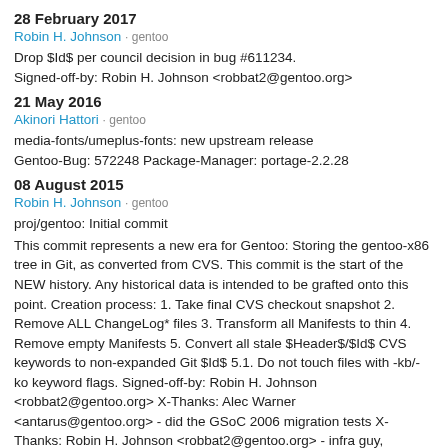28 February 2017
Robin H. Johnson · gentoo
Drop $Id$ per council decision in bug #611234. Signed-off-by: Robin H. Johnson <robbat2@gentoo.org>
21 May 2016
Akinori Hattori · gentoo
media-fonts/umeplus-fonts: new upstream release Gentoo-Bug: 572248 Package-Manager: portage-2.2.28
08 August 2015
Robin H. Johnson · gentoo
proj/gentoo: Initial commit
This commit represents a new era for Gentoo: Storing the gentoo-x86 tree in Git, as converted from CVS. This commit is the start of the NEW history. Any historical data is intended to be grafted onto this point. Creation process: 1. Take final CVS checkout snapshot 2. Remove ALL ChangeLog* files 3. Transform all Manifests to thin 4. Remove empty Manifests 5. Convert all stale $Header$/$Id$ CVS keywords to non-expanded Git $Id$ 5.1. Do not touch files with -kb/-ko keyword flags. Signed-off-by: Robin H. Johnson <robbat2@gentoo.org> X-Thanks: Alec Warner <antarus@gentoo.org> - did the GSoC 2006 migration tests X-Thanks: Robin H. Johnson <robbat2@gentoo.org> - infra guy,